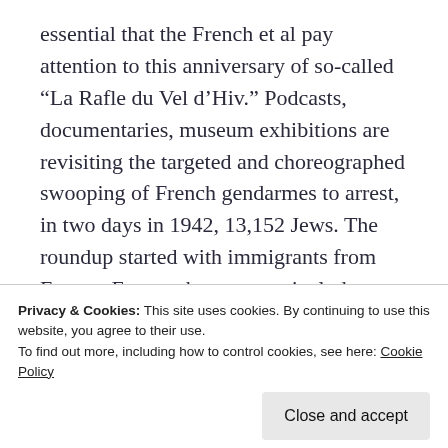essential that the French et al pay attention to this anniversary of so-called “La Rafle du Vel d’Hiv.”  Podcasts, documentaries, museum exhibitions are revisiting the targeted and choreographed swooping of French gendarmes to arrest, in two days in 1942, 13,152 Jews.  The roundup started with immigrants from Eastern Europe, but grew to include French Jews. Collaborist Vichy government was making “good” on promises to Gestapo, which had occupied the zone since
Privacy & Cookies: This site uses cookies. By continuing to use this website, you agree to their use.
To find out more, including how to control cookies, see here: Cookie Policy